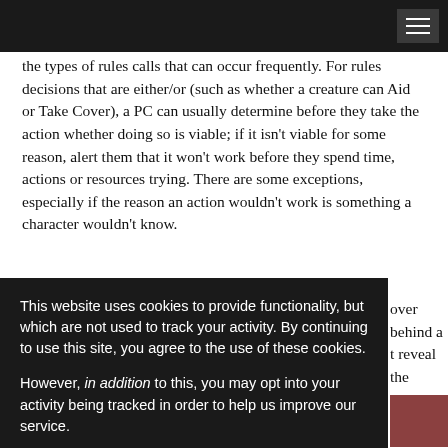[Navigation bar with hamburger menu]
the types of rules calls that can occur frequently. For rules decisions that are either/or (such as whether a creature can Aid or Take Cover), a PC can usually determine before they take the action whether doing so is viable; if it isn't viable for some reason, alert them that it won't work before they spend time, actions or resources trying. There are some exceptions, especially if the reason an action wouldn't work is something a character wouldn't know.
This website uses cookies to provide functionality, but which are not used to track your activity. By continuing to use this site, you agree to the use of these cookies.

However, in addition to this, you may opt into your activity being tracked in order to help us improve our service.

For more information, please click here
ent to describe ne of the ments. It can the environment, to better ground them in the location.